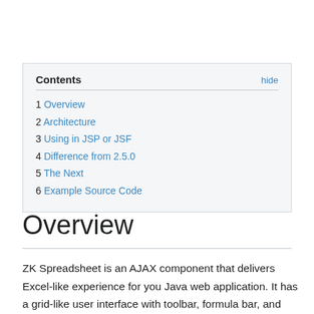Contents | hide
1 Overview
2 Architecture
3 Using in JSP or JSF
4 Difference from 2.5.0
5 The Next
6 Example Source Code
Overview
ZK Spreadsheet is an AJAX component that delivers Excel-like experience for you Java web application. It has a grid-like user interface with toolbar, formula bar, and sheet bar and it